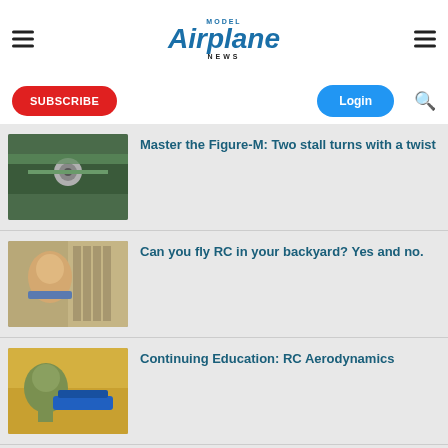MODEL Airplane NEWS
SUBSCRIBE
Login
[Figure (photo): Close-up of model airplane nose/propeller area, green wings visible]
Master the Figure-M: Two stall turns with a twist
[Figure (photo): Man in blue shirt talking, workshop background with shelves]
Can you fly RC in your backyard? Yes and no.
[Figure (photo): Man in green shirt holding blue model airplane, yellow workbench]
Continuing Education: RC Aerodynamics
Safety First! Your Pre-Flight Checklist